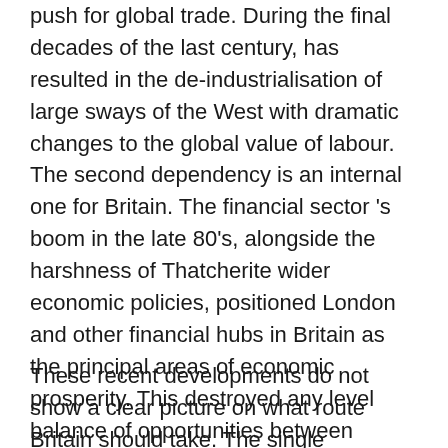push for global trade. During the final decades of the last century, has resulted in the de-industrialisation of large sways of the West with dramatic changes to the global value of labour. The second dependency is an internal one for Britain. The financial sector 's boom in the late 80's, alongside the harshness of Thatcherite wider economic policies, positioned London and other financial hubs in Britain as the principal areas of economic prosperity. This destroyed any level balance of opportunities between reinvigorated metropolitan centres and older industrialised areas.
These recent developments do not show a clear picture on what route Britain should take. The single...